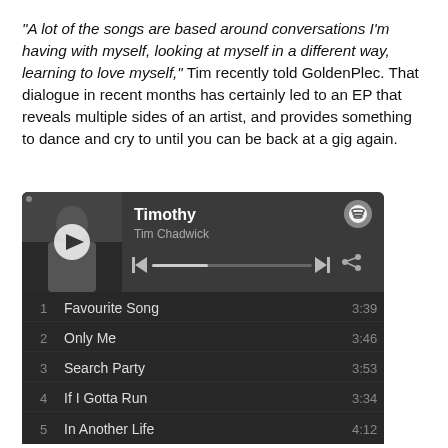“A lot of the songs are based around conversations I’m having with myself, looking at myself in a different way, learning to love myself,” Tim recently told GoldenPlec. That dialogue in recent months has certainly led to an EP that reveals multiple sides of an artist, and provides something to dance and cry to until you can be back at a gig again.
[Figure (screenshot): Spotify player widget showing album 'Timothy' by Tim Chadwick with a tracklist: 1 Favourite Song 3:39, 2 Only Me 3:46, 3 Search Party 3:53, 4 If I Gotta Run 3:34, 5 In Another Life 4:12]